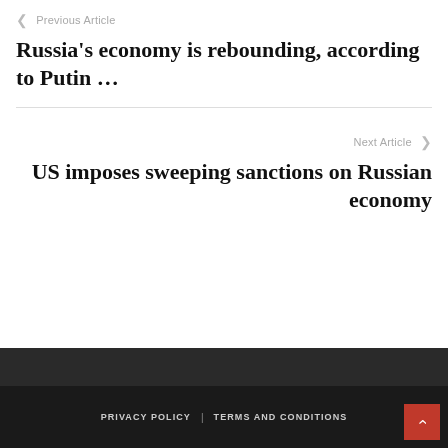❮  Previous Article
Russia's economy is rebounding, according to Putin …
Next Article  ❯
US imposes sweeping sanctions on Russian economy
PRIVACY POLICY   TERMS AND CONDITIONS